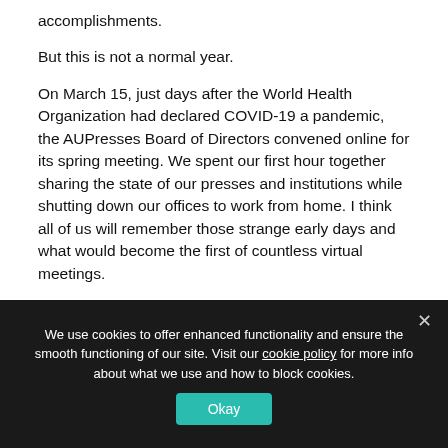accomplishments.
But this is not a normal year.
On March 15, just days after the World Health Organization had declared COVID-19 a pandemic, the AUPresses Board of Directors convened online for its spring meeting. We spent our first hour together sharing the state of our presses and institutions while shutting down our offices to work from home. I think all of us will remember those strange early days and what would become the first of countless virtual meetings.
At that March meeting, we approved the Association's
We use cookies to offer enhanced functionality and ensure the smooth functioning of our site. Visit our cookie policy for more info about what we use and how to block cookies.